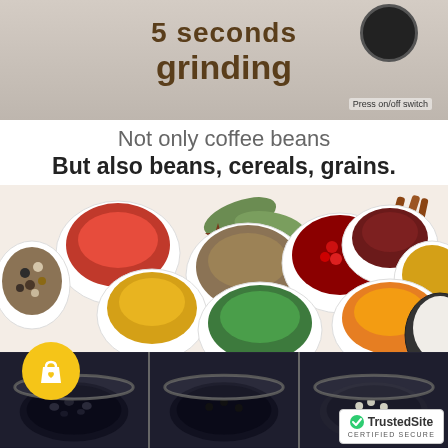[Figure (infographic): Top banner with text '5 seconds grinding' in brown on gray background, with a small coffee grinder device image and 'Press on/off switch' label]
Not only coffee beans
But also beans, cereals, grains.
[Figure (photo): Overhead photo of various spices and grains in white bowls on white background: red spice powder, mixed peppercorns, mustard seeds, cumin/caraway, star anise, bay leaves, red peppercorns, dried herbs, turmeric, dark red spice, yellow grain, cinnamon sticks, white sesame/grain]
[Figure (photo): Three product container images at bottom showing different grains/seeds inside a grinder container. Shopping bag icon with heart in gold circle on left. TrustedSite Certified Secure badge on bottom right.]